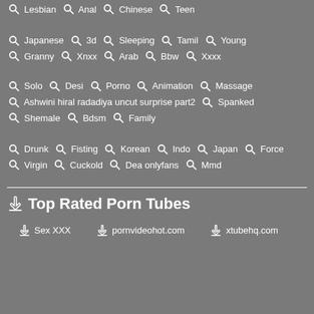Japanese  3d  Sleeping  Tamil  Young
Granny  Xnxx  Arab  Bbw  Xxxx
Solo  Desi  Porno  Animation  Massage
Ashwini hiral radadiya uncut surprise part2  Spanked
Shemale  Bdsm  Family
Drunk  Fisting  Korean  Indo  Japan  Force
Virgin  Cuckold  Dea onlyfans  Mmd
Top Rated Porn Tubes
Sex XXX  pornvideohot.com  xtubehq.com